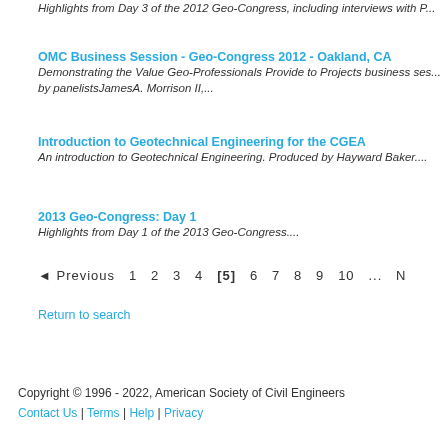Highlights from Day 3 of the 2012 Geo-Congress, including interviews with P...
OMC Business Session - Geo-Congress 2012 - Oakland, CA
Demonstrating the Value Geo-Professionals Provide to Projects business ses... by panelistsJamesA. Morrison II,...
Introduction to Geotechnical Engineering for the CGEA
An introduction to Geotechnical Engineering. Produced by Hayward Baker....
2013 Geo-Congress: Day 1
Highlights from Day 1 of the 2013 Geo-Congress....
◄ Previous 1 2 3 4 [5] 6 7 8 9 10 ... N
Return to search
Copyright © 1996 - 2022, American Society of Civil Engineers
Contact Us | Terms | Help | Privacy